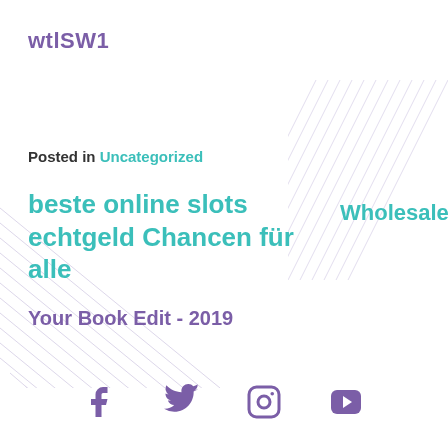wtlSW1
Posted in Uncategorized
beste online slots echtgeld Chancen für alle
Wholesale Cytotec
Your Book Edit - 2019
[Figure (infographic): Social media icons: Facebook, Twitter, Instagram, YouTube]